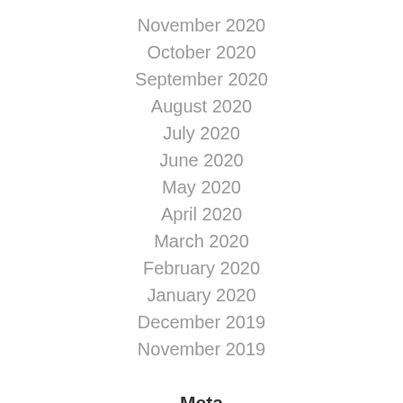November 2020
October 2020
September 2020
August 2020
July 2020
June 2020
May 2020
April 2020
March 2020
February 2020
January 2020
December 2019
November 2019
Meta